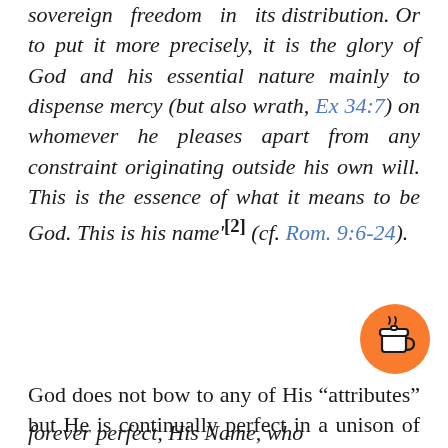sovereign freedom in its distribution. Or to put it more precisely, it is the glory of God and his essential nature mainly to dispense mercy (but also wrath, Ex 34:7) on whomever he pleases apart from any constraint originating outside his own will. This is the essence of what it means to be God. This is his name'[2] (cf. Rom. 9:6-24).
God does not bow to any of His “attributes” but He is continually perfect in a unison of perfection.
Thank you for visiting. You can now buy me a coffee!
forever perfect, His Name, who